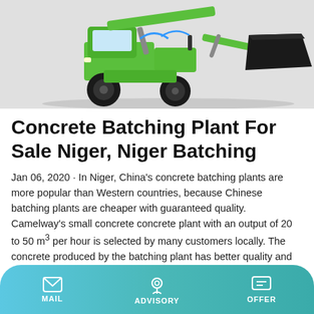[Figure (photo): Green concrete batching plant / loader machine with black bucket attachment on a light gray background]
Concrete Batching Plant For Sale Niger, Niger Batching
Jan 06, 2020 · In Niger, China's concrete batching plants are more popular than Western countries, because Chinese batching plants are cheaper with guaranteed quality. Camelway's small concrete concrete plant with an output of 20 to 50 m³ per hour is selected by many customers locally. The concrete produced by the batching plant has better quality and high degree of automation, and is …
Learn More
MAIL   ADVISORY   OFFER